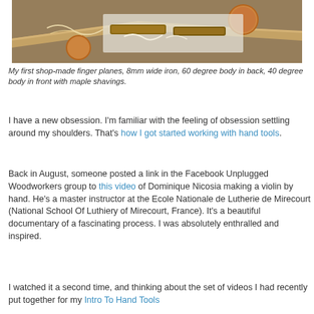[Figure (photo): Close-up photo of two small wooden finger planes on a light surface with wood shavings; a copper penny visible in the background for scale.]
My first shop-made finger planes, 8mm wide iron, 60 degree body in back, 40 degree body in front with maple shavings.
I have a new obsession. I'm familiar with the feeling of obsession settling around my shoulders. That's how I got started working with hand tools.
Back in August, someone posted a link in the Facebook Unplugged Woodworkers group to this video of Dominique Nicosia making a violin by hand. He's a master instructor at the Ecole Nationale de Lutherie de Mirecourt (National School Of Luthiery of Mirecourt, France). It's a beautiful documentary of a fascinating process. I was absolutely enthralled and inspired.
I watched it a second time, and thinking about the set of videos I had recently put together for my Intro To Hand Tools